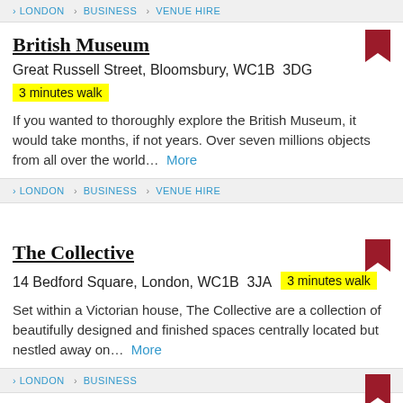LONDON > BUSINESS > VENUE HIRE
British Museum
Great Russell Street, Bloomsbury, WC1B  3DG
3 minutes walk
If you wanted to thoroughly explore the British Museum, it would take months, if not years. Over seven millions objects from all over the world...  More
LONDON > BUSINESS > VENUE HIRE
The Collective
14 Bedford Square, London, WC1B  3JA   3 minutes walk
Set within a Victorian house, The Collective are a collection of beautifully designed and finished spaces centrally located but nestled away on...  More
LONDON > BUSINESS